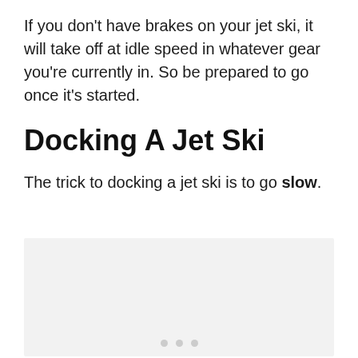If you don't have brakes on your jet ski, it will take off at idle speed in whatever gear you're currently in. So be prepared to go once it's started.
Docking A Jet Ski
The trick to docking a jet ski is to go slow.
[Figure (photo): Light gray placeholder image box with three small gray dots centered near the bottom, representing an image to be loaded.]